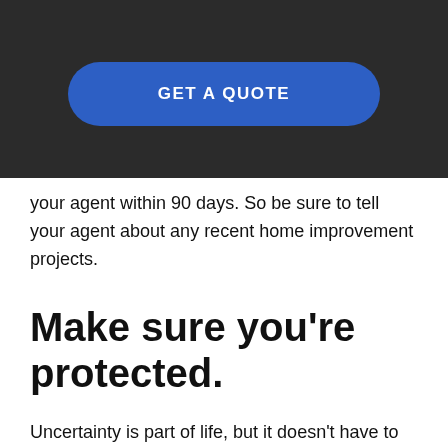[Figure (other): Dark header banner with a blue rounded 'GET A QUOTE' button]
your agent within 90 days. So be sure to tell your agent about any recent home improvement projects.
Make sure you're protected.
Uncertainty is part of life, but it doesn't have to rule your roost. At ERIE, we'll help you keep an eye on property risks and manage them up front so you can relax and enjoy your home – and your life.